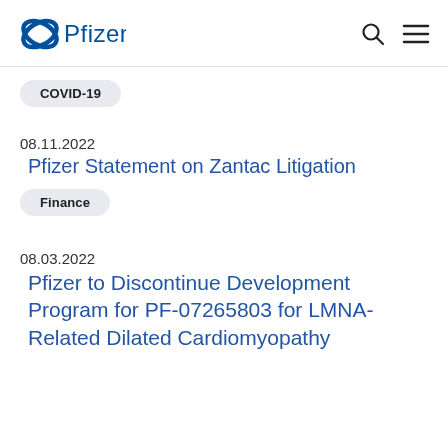Pfizer [logo]
COVID-19
08.11.2022
Pfizer Statement on Zantac Litigation
Finance
08.03.2022
Pfizer to Discontinue Development Program for PF-07265803 for LMNA-Related Dilated Cardiomyopathy